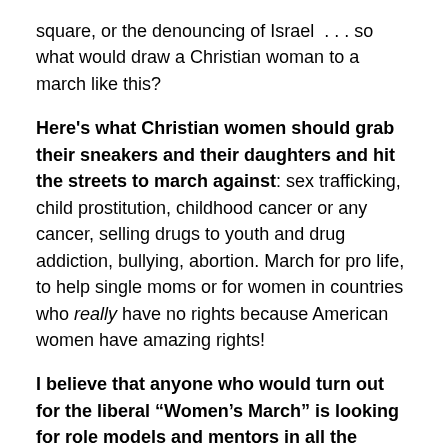square, or the denouncing of Israel . . . so what would draw a Christian woman to a march like this?
Here's what Christian women should grab their sneakers and their daughters and hit the streets to march against: sex trafficking, child prostitution, childhood cancer or any cancer, selling drugs to youth and drug addiction, bullying, abortion. March for pro life, to help single moms or for women in countries who really have no rights because American women have amazing rights!
I believe that anyone who would turn out for the liberal “Women’s March” is looking for role models and mentors in all the wrong places. They are listening to the mainstream media and following the culture. The church needs to step up and provide mentors, guidance,